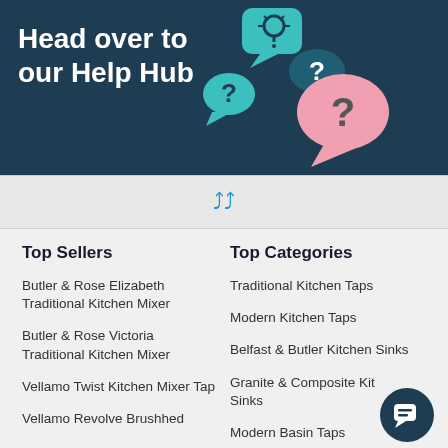[Figure (illustration): Dark teal banner with text 'Head over to our Help Hub' on the left and speech bubble icons with question marks and a lightbulb on the right]
[Figure (infographic): Light grey bar with two upward-pointing blue chevron arrows centered, acting as a scroll-up indicator]
Top Sellers
Top Categories
Butler & Rose Elizabeth Traditional Kitchen Mixer
Traditional Kitchen Taps
Butler & Rose Victoria Traditional Kitchen Mixer
Modern Kitchen Taps
Vellamo Twist Kitchen Mixer Tap
Belfast & Butler Kitchen Sinks
Vellamo Revolve Brushhed
Granite & Composite Kitchen Sinks
Modern Basin Taps